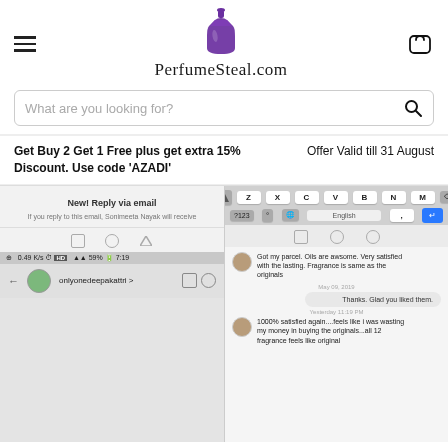[Figure (screenshot): PerfumeSteal.com website header with hamburger menu, perfume bottle logo, site name, cart icon, and search bar]
Get Buy 2 Get 1 Free plus get extra 15% Discount. Use code 'AZADI'
Offer Valid till 31 August
[Figure (screenshot): Left: Mobile screenshot showing email reply UI with 'New! Reply via email' and 'onlyonedeepakattri' Instagram contact. Right: Mobile screenshot showing keyboard and WhatsApp chat with customer review 'Got my parcel. Oils are awsome. Very satisfied with the lasting. Fragrance is same as the originals', reply 'Thanks. Glad you liked them.', and follow-up '1000% satisfied again....feels like i was wasting my money in buying the originals...all 12 fragrance feels like original']